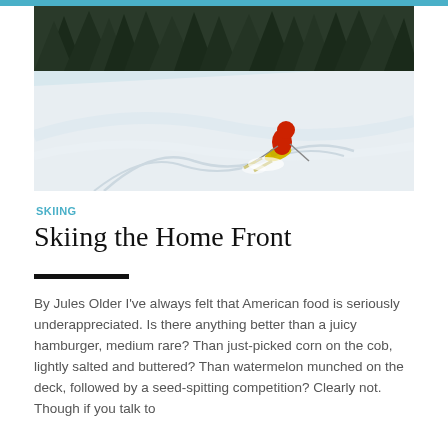[Figure (photo): A skier in a red jacket and yellow pants carving a turn through powder snow on a slope, with snow-covered trees in the background.]
SKIING
Skiing the Home Front
By Jules Older I've always felt that American food is seriously underappreciated. Is there anything better than a juicy hamburger, medium rare? Than just-picked corn on the cob, lightly salted and buttered? Than watermelon munched on the deck, followed by a seed-spitting competition? Clearly not. Though if you talk to